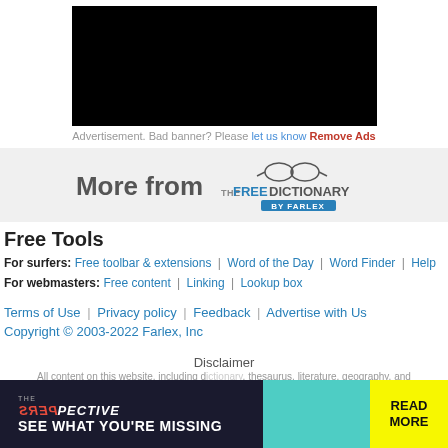[Figure (other): Black advertisement banner placeholder]
Advertisement. Bad banner? Please let us know Remove Ads
[Figure (logo): More from The Free Dictionary by Farlex logo banner]
Free Tools
For surfers: Free toolbar & extensions | Word of the Day | Word Finder | Help
For webmasters: Free content | Linking | Lookup box
Terms of Use | Privacy policy | Feedback | Advertise with Us
Copyright © 2003-2022 Farlex, Inc
Disclaimer
All content on this website, including dictionary, thesaurus, literature, geography, and
[Figure (other): Bottom advertisement banner: PERSPECTIVE - SEE WHAT YOU'RE MISSING with READ MORE button]